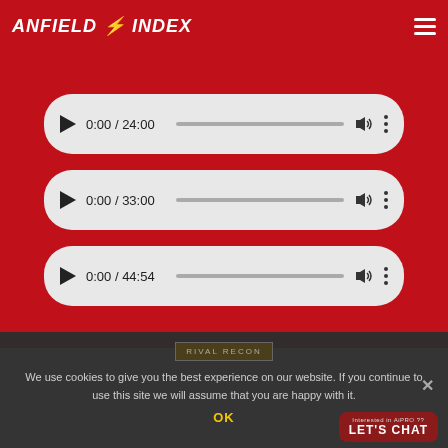ANFIELD INDEX
[Figure (screenshot): Audio player 1 showing 0:00 / 24:00 with progress bar, volume and more icons]
[Figure (screenshot): Audio player 2 showing 0:00 / 33:00 with progress bar, volume and more icons]
[Figure (screenshot): Audio player 3 showing 0:00 / 44:54 with progress bar, volume and more icons]
RIVAL RECON
We use cookies to give you the best experience on our website. If you continue to use this site we will assume that you are happy with it.
OK